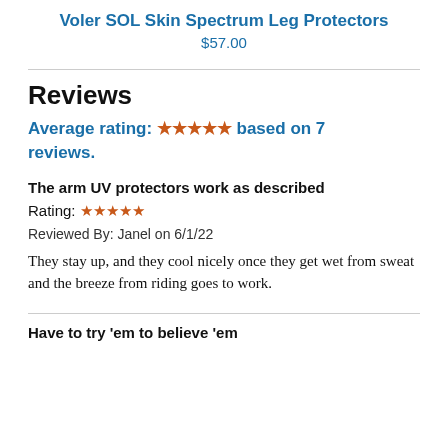Voler SOL Skin Spectrum Leg Protectors
$57.00
Reviews
Average rating: ★★★★★ based on 7 reviews.
The arm UV protectors work as described
Rating: ★★★★★
Reviewed By: Janel on 6/1/22
They stay up, and they cool nicely once they get wet from sweat and the breeze from riding goes to work.
Have to try 'em to believe 'em